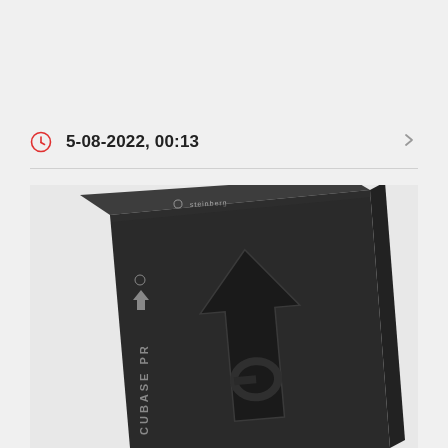5-08-2022, 00:13
[Figure (photo): A dark charcoal/black Cubase Pro software box shown at an angle. The front face shows a large stylized Steinberg logo (a tilted arrow/chevron shape) embossed on the matte black surface. The spine reads 'CUBASE PRO' vertically with the Steinberg logo above it. The top edge shows 'Steinberg' branding. The box has a premium matte black finish.]